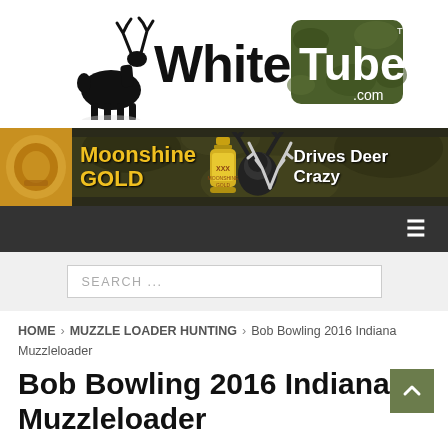[Figure (logo): WhitetailTube.com logo with deer silhouette and camo box]
[Figure (photo): Moonshine GOLD advertisement banner - Drives Deer Crazy]
[Figure (other): Dark navigation bar with hamburger menu icon]
SEARCH ...
HOME > MUZZLE LOADER HUNTING > Bob Bowling 2016 Indiana Muzzleloader
Bob Bowling 2016 Indiana Muzzleloader